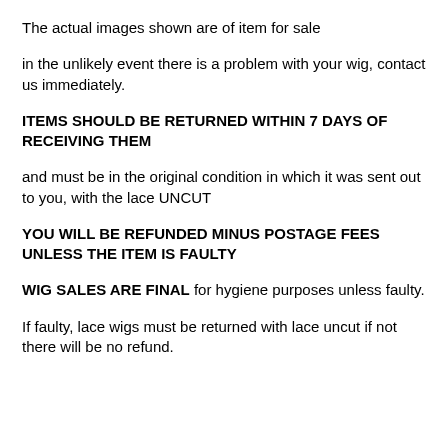The actual images shown are of item for sale
in the unlikely event there is a problem with your wig, contact us immediately.
ITEMS SHOULD BE RETURNED WITHIN 7 DAYS OF RECEIVING THEM
and must be in the original condition in which it was sent out to you, with the lace UNCUT
YOU WILL BE REFUNDED MINUS POSTAGE FEES UNLESS THE ITEM IS FAULTY
WIG SALES ARE FINAL for hygiene purposes unless faulty.
If faulty, lace wigs must be returned with lace uncut if not there will be no refund.